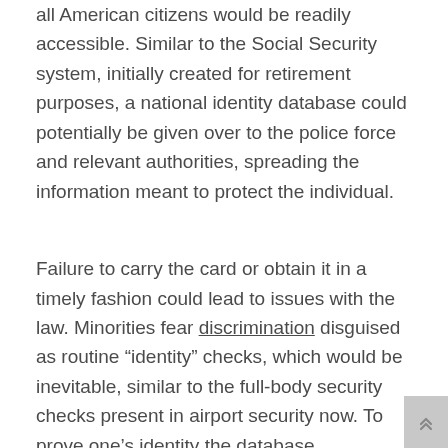all American citizens would be readily accessible. Similar to the Social Security system, initially created for retirement purposes, a national identity database could potentially be given over to the police force and relevant authorities, spreading the information meant to protect the individual.
Failure to carry the card or obtain it in a timely fashion could lead to issues with the law. Minorities fear discrimination disguised as routine “identity” checks, which would be inevitable, similar to the full-body security checks present in airport security now. To prove one’s identity the database aforementioned would be used and in turn would be readily accessible to all TSA officials.